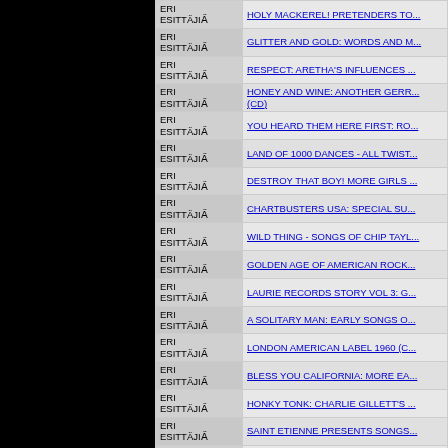|  |  |
| --- | --- |
| ERI ESITTÄJIA̋ | HOLY MACKEREL! PRETENDERS TO... |
| ERI ESITTÄJIA̋ | GLITTER AND GOLD: WORDS AND M... |
| ERI ESITTÄJIA̋ | RESPECT: ARETHA'S INFLUENCES ... |
| ERI ESITTÄJIA̋ | HONEY AND WINE: ANOTHER GERR... (CD) |
| ERI ESITTÄJIA̋ | YOU HEARD THEM HERE FIRST: RO... |
| ERI ESITTÄJIA̋ | LAND OF 1000 DANCES - ALL TWIST... |
| ERI ESITTÄJIA̋ | DESTROY THAT BOY! MORE GIRLS ... |
| ERI ESITTÄJIA̋ | CHARTBUSTERS USA: SPECIAL SU... |
| ERI ESITTÄJIA̋ | WILD THING - SONGS OF CHIP TAYL... |
| ERI ESITTÄJIA̋ | GOLDEN AGE OF AMERICAN ROCK... |
| ERI ESITTÄJIA̋ | LAURIE RECORDS STORY VOL 3: G... |
| ERI ESITTÄJIA̋ | A SOLITARY MAN: EARLY SONGS O... |
| ERI ESITTÄJIA̋ | LONDON AMERICAN LABEL 1960 (C... |
| ERI ESITTÄJIA̋ | BLESS YOU CALIFORNIA: MORE EA... |
| ERI ESITTÄJIA̋ | HONKY TONK: CHARLIE GILLETT'S ... |
| ERI ESITTÄJIA̋ | SAINT ETIENNE PRESENTS SONGS... |
| ERI ESITTÄJIA̋ | LONDON AMERICAN 1961 (CD) |
| ERI ESITTÄJIA̋ | YOU HEARD IT HERE FIRST! VOLUM... |